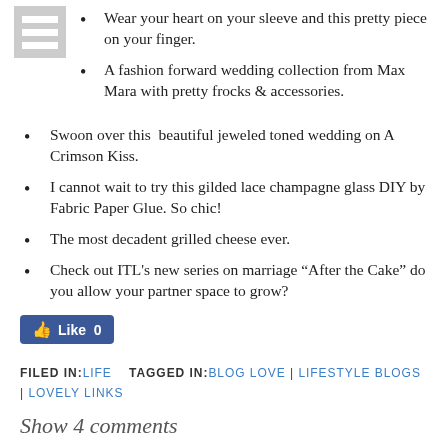Wear your heart on your sleeve and this pretty piece on your finger.
A fashion forward wedding collection from Max Mara with pretty frocks & accessories.
Swoon over this  beautiful jeweled toned wedding on A Crimson Kiss.
I cannot wait to try this gilded lace champagne glass DIY by Fabric Paper Glue. So chic!
The most decadent grilled cheese ever.
Check out ITL's new series on marriage “After the Cake” do you allow your partner space to grow?
[Figure (other): Facebook Like button showing 0 likes]
FILED IN: LIFE   TAGGED IN: BLOG LOVE | LIFESTYLE BLOGS | LOVELY LINKS
Show 4 comments
[Figure (other): Empty comment input box]